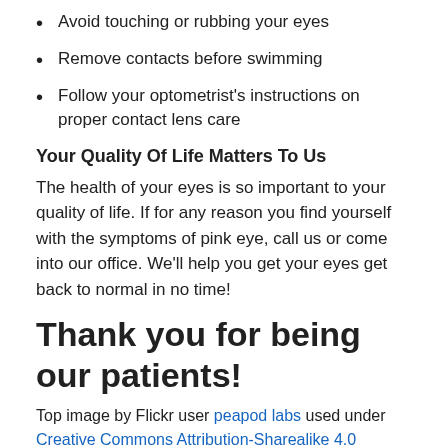Avoid touching or rubbing your eyes
Remove contacts before swimming
Follow your optometrist's instructions on proper contact lens care
Your Quality Of Life Matters To Us
The health of your eyes is so important to your quality of life. If for any reason you find yourself with the symptoms of pink eye, call us or come into our office. We'll help you get your eyes get back to normal in no time!
Thank you for being our patients!
Top image by Flickr user peapod labs used under Creative Commons Attribution-Sharealike 4.0 license. Image cropped and modified from original.
The content on this blog is not intended to be a